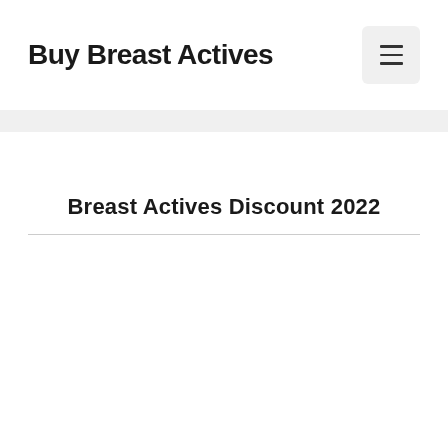Buy Breast Actives
Breast Actives Discount 2022